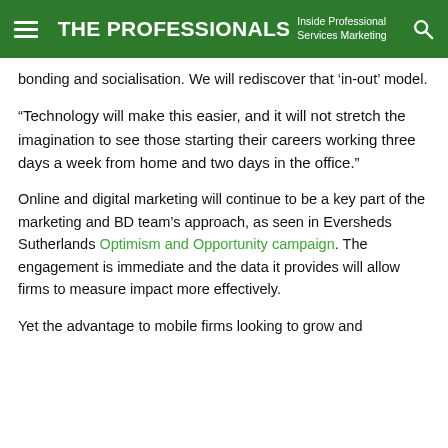THE PROFESSIONALS Inside Professional Services Marketing
bonding and socialisation. We will rediscover that 'in-out' model.
“Technology will make this easier, and it will not stretch the imagination to see those starting their careers working three days a week from home and two days in the office.”
Online and digital marketing will continue to be a key part of the marketing and BD team’s approach, as seen in Eversheds Sutherlands Optimism and Opportunity campaign. The engagement is immediate and the data it provides will allow firms to measure impact more effectively.
Yet the advantage to mobile firms looking to grow and